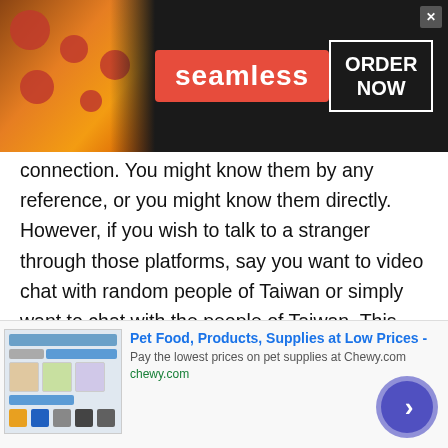[Figure (screenshot): Seamless food delivery advertisement banner with pizza image on left, red Seamless logo in center, and ORDER NOW button on right with X close button]
connection. You might know them by any reference, or you might know them directly. However, if you wish to talk to a stranger through those platforms, say you want to video chat with random people of Taiwan or simply want to chat with the people of Taiwan. This thing is not possible on those applications.
Compatibility:
The talk with stranger platform is compatible on
[Figure (screenshot): Chewy.com pet food advertisement banner at bottom of page with product images and a circular navigation button]